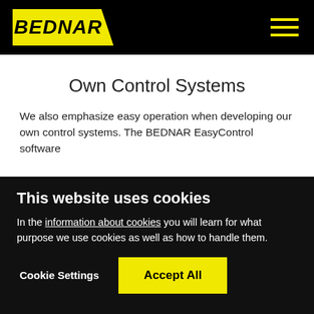BEDNAR
Own Control Systems
We also emphasize easy operation when developing our own control systems. The BEDNAR EasyControl software
This website uses cookies
In the information about cookies you will learn for what purpose we use cookies as well as how to handle them.
Cookie Settings
Accept All